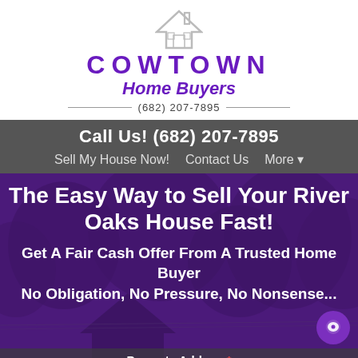[Figure (logo): Cowtown Home Buyers logo with house silhouette icon, purple text 'COWTOWN' in large letters, 'Home Buyers' in italic, and phone number (682) 207-7895 below with horizontal rules]
Call Us! (682) 207-7895
Sell My House Now!   Contact Us   More ▾
The Easy Way to Sell Your River Oaks House Fast!
Get A Fair Cash Offer From A Trusted Home Buyer
No Obligation, No Pressure, No Nonsense...
Property Address *